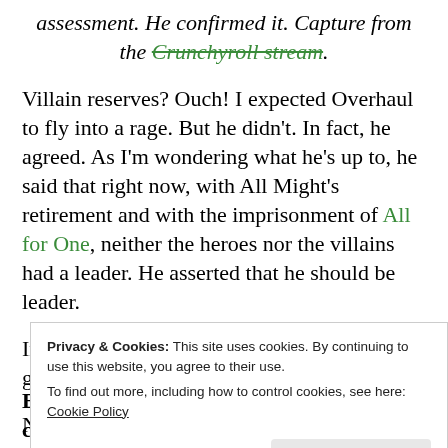assessment. He confirmed it. Capture from the Crunchyroll stream.
Villain reserves? Ouch! I expected Overhaul to fly into a rage. But he didn't. In fact, he agreed. As I'm wondering what he's up to, he said that right now, with All Might's retirement and with the imprisonment of All for One, neither the heroes nor the villains had a leader. He asserted that he should be leader.
Irina, were you a little worried about this guy's safety at this point?
Privacy & Cookies: This site uses cookies. By continuing to use this website, you agree to their use.
To find out more, including how to control cookies, see here: Cookie Policy
But I did like the establishment of what could be almost